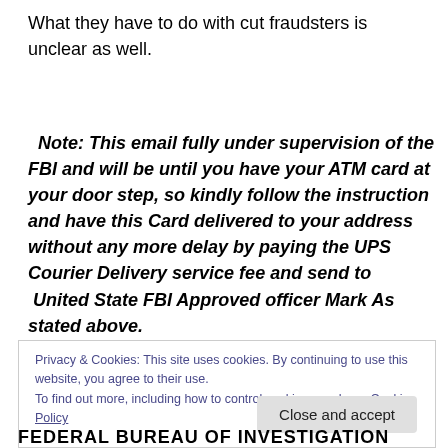What they have to do with cut fraudsters is unclear as well.
Note: This email fully under supervision of the FBI and will be until you have your ATM card at your door step, so kindly follow the instruction and have this Card delivered to your address without any more delay by paying the UPS Courier Delivery service fee and send to United State FBI Approved officer Mark As stated above.
It ... the FBI ... email ... The offi...
Privacy & Cookies: This site uses cookies. By continuing to use this website, you agree to their use.
To find out more, including how to control cookies, see here: Cookie Policy
Close and accept
FEDERAL BUREAU OF INVESTIGATION